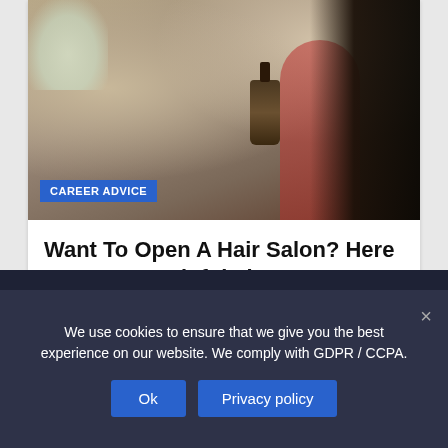[Figure (photo): Woman in red top holding a dropper bottle, with flowers in the background. Photo for a hair salon article.]
Want To Open A Hair Salon? Here Are Some Helpful Tips
2 days ago  Charlotte Antalia
We use cookies to ensure that we give you the best experience on our website. We comply with GDPR / CCPA.
Ok  Privacy policy